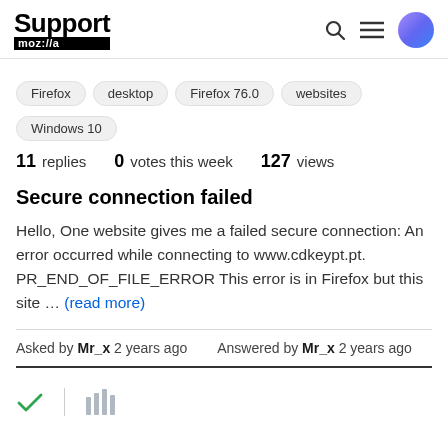Support moz://a
Firefox
desktop
Firefox 76.0
websites
Windows 10
11 replies   0 votes this week   127 views
Secure connection failed
Hello, One website gives me a failed secure connection: An error occurred while connecting to www.cdkeypt.pt. PR_END_OF_FILE_ERROR This error is in Firefox but this site … (read more)
Asked by Mr_x 2 years ago   Answered by Mr_x 2 years ago